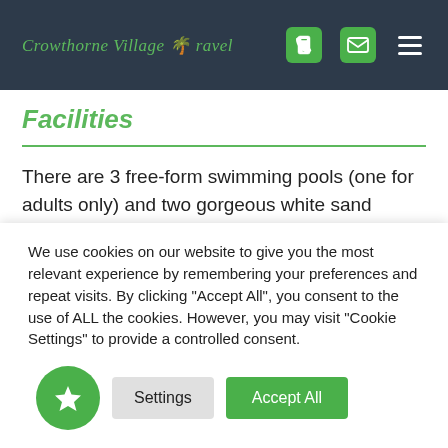Crowthorne Village Travel
Facilities
There are 3 free-form swimming pools (one for adults only) and two gorgeous white sand beaches. Other amenities include a fitness centre, tennis courts, beach volleyball, spa and salon, mini golf and non-motorised watersports, including sailing, windsurfing, snorkelling
We use cookies on our website to give you the most relevant experience by remembering your preferences and repeat visits. By clicking "Accept All", you consent to the use of ALL the cookies. However, you may visit "Cookie Settings" to provide a controlled consent.